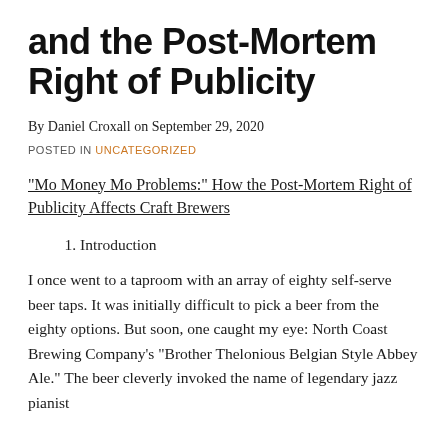and the Post-Mortem Right of Publicity
By Daniel Croxall on September 29, 2020
POSTED IN UNCATEGORIZED
“Mo Money Mo Problems:” How the Post-Mortem Right of Publicity Affects Craft Brewers
1. Introduction
I once went to a taproom with an array of eighty self-serve beer taps. It was initially difficult to pick a beer from the eighty options. But soon, one caught my eye: North Coast Brewing Company’s “Brother Thelonious Belgian Style Abbey Ale.” The beer cleverly invoked the name of legendary jazz pianist